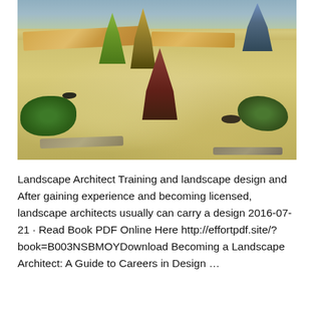[Figure (photo): A xeriscaped garden featuring gravel ground cover, ornamental grasses including red-tinted grass clumps, flat stone slabs used as stepping path, dark rocks, and low-water shrubs. Background shows blue-gray spruce trees and sandstone boulders.]
Landscape Architect Training and landscape design and After gaining experience and becoming licensed, landscape architects usually can carry a design 2016-07-21 · Read Book PDF Online Here http://effortpdf.site/?book=B003NSBMOYDownload Becoming a Landscape Architect: A Guide to Careers in Design …